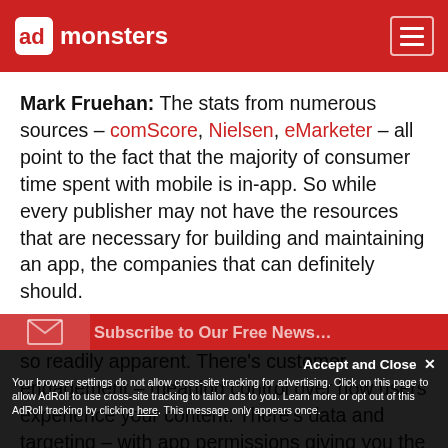admonsters — navigation header
Mark Fruehan: The stats from numerous sources – comScore, Nielsen, eMarketer – all point to the fact that the majority of consumer time spent with mobile is in-app. So while every publisher may not have the resources that are necessary for building and maintaining an app, the companies that can definitely should.
And that's because the benefits of an app are so readily apparent. There's customer engagement – meaning control over how users experience your content. There's data and targeting – with app permissions giving you the ability to connect with precisely the right users at specific
Subscribe to Our Free News...
Accept and Close ✕ Your browser settings do not allow cross-site tracking for advertising. Click on this page to allow AdRoll to use cross-site tracking to tailor ads to you. Learn more or opt out of this AdRoll tracking by clicking here. This message only appears once.